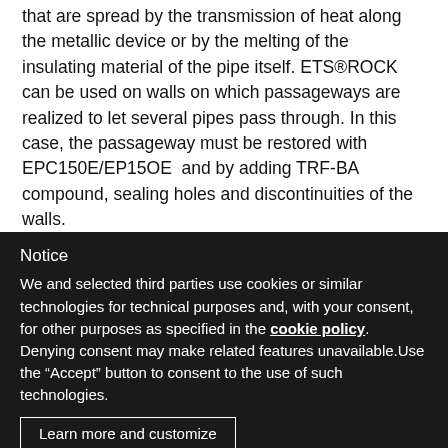that are spread by the transmission of heat along the metallic device or by the melting of the insulating material of the pipe itself. ETS®ROCK can be used on walls on which passageways are realized to let several pipes pass through. In this case, the passageway must be restored with EPC150E/EP15OE and by adding TRF-BA compound, sealing holes and discontinuities of the walls.
Notice
We and selected third parties use cookies or similar technologies for technical purposes and, with your consent, for other purposes as specified in the cookie policy. Denying consent may make related features unavailable.Use the "Accept" button to consent to the use of such technologies.
Learn more and customize
Accept